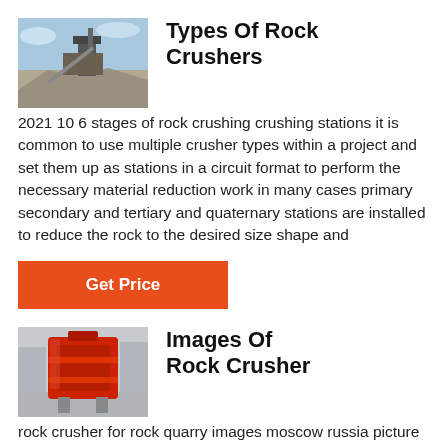[Figure (photo): Outdoor rock crushing equipment at a quarry site, with machinery and crushed rock in background]
Types Of Rock Crushers
2021 10 6 stages of rock crushing crushing stations it is common to use multiple crusher types within a project and set them up as stations in a circuit format to perform the necessary material reduction work in many cases primary secondary and tertiary and quaternary stations are installed to reduce the rock to the desired size shape and
Get Price
[Figure (photo): Indoor image of a large red industrial rock crusher machine in a factory or warehouse]
Images Of Rock Crusher
rock crusher for rock quarry images moscow russia picture by vladj55 1 3 stone crusher stock photographs by